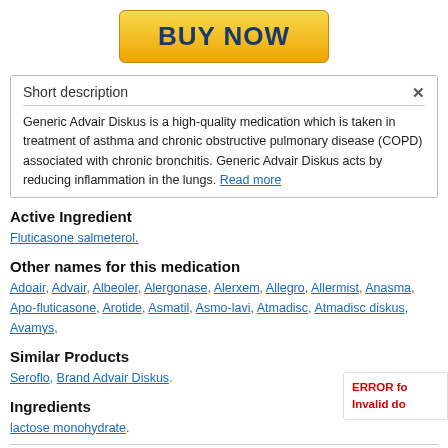[Figure (other): Yellow 'BUY NOW' button with gradient background and dark blue bold text]
Short description
Generic Advair Diskus is a high-quality medication which is taken in treatment of asthma and chronic obstructive pulmonary disease (COPD) associated with chronic bronchitis. Generic Advair Diskus acts by reducing inflammation in the lungs. Read more
Active Ingredient
Fluticasone salmeterol.
Other names for this medication
Adoair, Advair, Albeoler, Alergonase, Alerxem, Allegro, Allermist, Anasma, Apo-fluticasone, Arotide, Asmatil, Asmo-lavi, Atmadisc, Atmadisc diskus, Avamys,
Similar Products
Seroflo, Brand Advair Diskus.
Ingredients
lactose monohydrate.